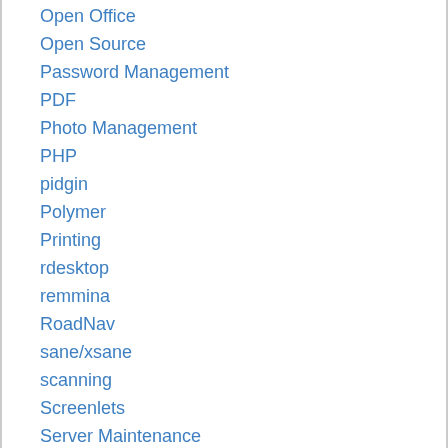Open Office
Open Source
Password Management
PDF
Photo Management
PHP
pidgin
Polymer
Printing
rdesktop
remmina
RoadNav
sane/xsane
scanning
Screenlets
Server Maintenance
Shutter
Skype
Software to Watch
Software Updates
sound
SourceForge
Speech Recognition